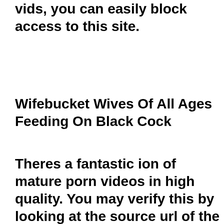vids, you can easily block access to this site.
Wifebucket Wives Of All Ages Feeding On Black Cock
Theres a fantastic ion of mature porn videos in high quality. You may verify this by looking at the source url of the videos and images